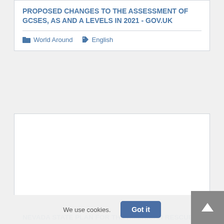PROPOSED CHANGES TO THE ASSESSMENT OF GCSES, AS AND A LEVELS IN 2021 - GOV.UK
World Around   English
[Figure (other): Empty white content card / placeholder image area]
NEVADA STATE PLAN FOR THE AMERICAN RESCUE PLAN
We use cookies.   Got it